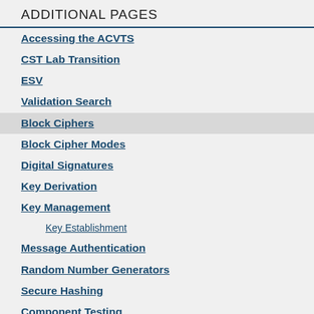ADDITIONAL PAGES
Accessing the ACVTS
CST Lab Transition
ESV
Validation Search
Block Ciphers
Block Cipher Modes
Digital Signatures
Key Derivation
Key Management
Key Establishment
Message Authentication
Random Number Generators
Secure Hashing
Component Testing